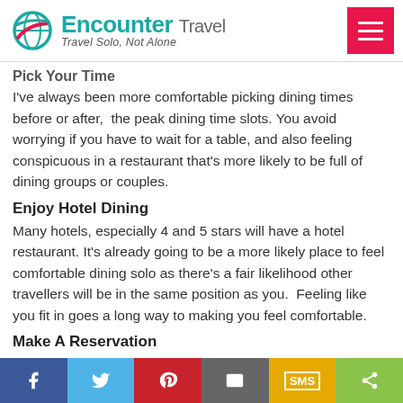[Figure (logo): Encounter Travel logo with teal globe icon and tagline 'Travel Solo, Not Alone', plus a red hamburger menu button]
Pick Your Time
I've always been more comfortable picking dining times before or after,  the peak dining time slots. You avoid worrying if you have to wait for a table, and also feeling conspicuous in a restaurant that's more likely to be full of dining groups or couples.
Enjoy Hotel Dining
Many hotels, especially 4 and 5 stars will have a hotel restaurant. It's already going to be a more likely place to feel comfortable dining solo as there's a fair likelihood other travellers will be in the same position as you.  Feeling like you fit in goes a long way to making you feel comfortable.
Make A Reservation
Hopefully you can avoid the dreaded 'table for one' question
[Figure (infographic): Social sharing bar with Facebook, Twitter, Pinterest, Email, SMS, and Share buttons]